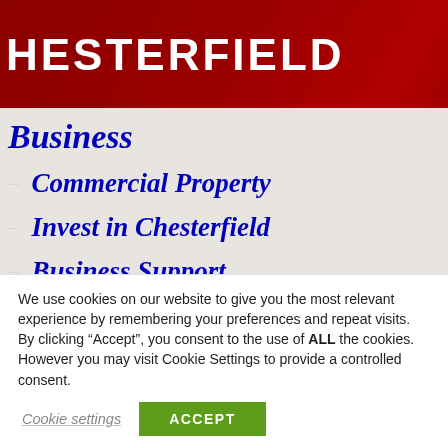CHESTERFIELD
Business
Commercial Property
Invest in Chesterfield
Business Support
Case Studies
Conference Venues
Business Events
We use cookies on our website to give you the most relevant experience by remembering your preferences and repeat visits. By clicking “Accept”, you consent to the use of ALL the cookies. However you may visit Cookie Settings to provide a controlled consent.
Cookie settings | ACCEPT